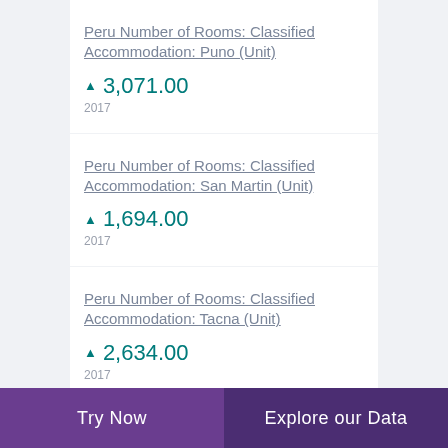Peru Number of Rooms: Classified Accommodation: Puno (Unit)
▲ 3,071.00
2017
Peru Number of Rooms: Classified Accommodation: San Martin (Unit)
▲ 1,694.00
2017
Peru Number of Rooms: Classified Accommodation: Tacna (Unit)
▲ 2,634.00
2017
Peru Number of Rooms:
Try Now    Explore our Data